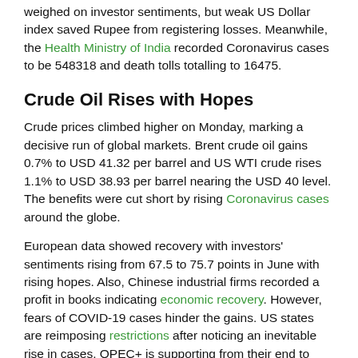weighed on investor sentiments, but weak US Dollar index saved Rupee from registering losses. Meanwhile, the Health Ministry of India recorded Coronavirus cases to be 548318 and death tolls totalling to 16475.
Crude Oil Rises with Hopes
Crude prices climbed higher on Monday, marking a decisive run of global markets. Brent crude oil gains 0.7% to USD 41.32 per barrel and US WTI crude rises 1.1% to USD 38.93 per barrel nearing the USD 40 level. The benefits were cut short by rising Coronavirus cases around the globe.
European data showed recovery with investors' sentiments rising from 67.5 to 75.7 points in June with rising hopes. Also, Chinese industrial firms recorded a profit in books indicating economic recovery. However, fears of COVID-19 cases hinder the gains. US states are reimposing restrictions after noticing an inevitable rise in cases. OPEC+ is supporting from their end to keep the prices up with continuous production cuts. For July, they agreed to extend the cuts to nearly 9.7 million BPD